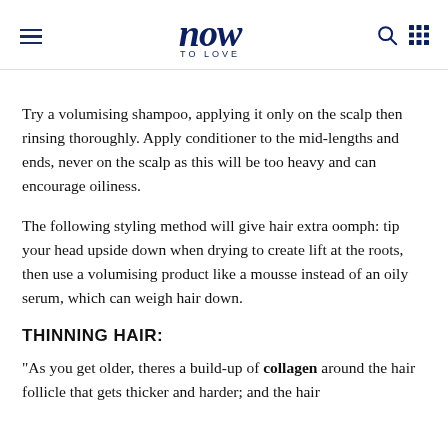now to love
Try a volumising shampoo, applying it only on the scalp then rinsing thoroughly. Apply conditioner to the mid-lengths and ends, never on the scalp as this will be too heavy and can encourage oiliness.
The following styling method will give hair extra oomph: tip your head upside down when drying to create lift at the roots, then use a volumising product like a mousse instead of an oily serum, which can weigh hair down.
THINNING HAIR:
"As you get older, theres a build-up of collagen around the hair follicle that gets thicker and harder; and the hair